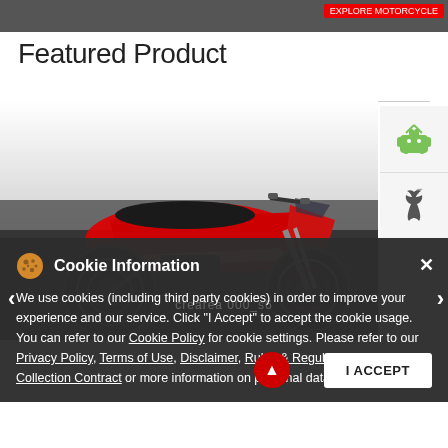[Figure (photo): Top banner with dark background and red button/label in top right corner]
Featured Product
[Figure (photo): Red motorcycle (sport/naked style) on a dark background, with Android and Apple app store badge icons on the right side]
[Figure (screenshot): Cookie Information banner overlay with dark background. Contains cookie icon, title 'Cookie Information', close X button, and text about cookie usage with links to Cookie Policy, Privacy Policy, Terms of Use, Disclaimer, Rules & Regulations, and Data Collection Contract. Has I ACCEPT button.]